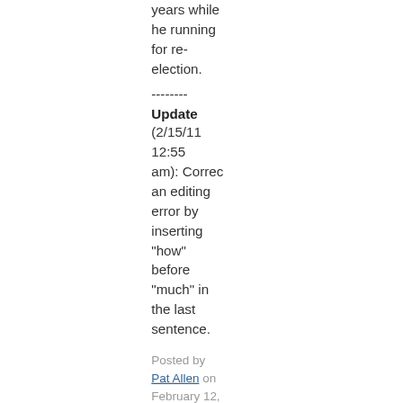years while he running for re-election.
--------
Update
(2/15/11 12:55 am): Correc an editing error by inserting "how" before "much" in the last sentence.
Posted by Pat Allen on February 12, 2011 at 02:27 PM in Politics - 2012, President Obama |